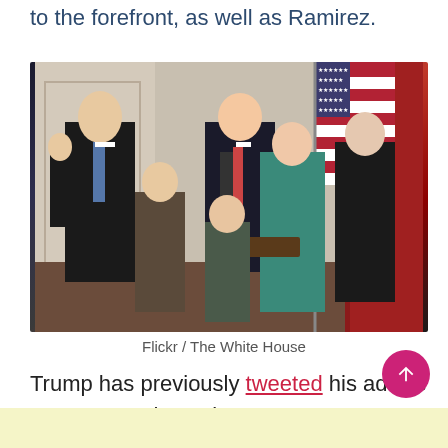to the forefront, as well as Ramirez.
[Figure (photo): Group photo of Brett Kavanaugh taking oath of office with hand raised, flanked by two young girls, wife in teal jacket holding Bible, Donald Trump in background, and an elderly man administering the oath, American flag visible, White House ceremonial room setting.]
Flickr / The White House
Trump has previously tweeted his advice to Kavanaugh, saying,